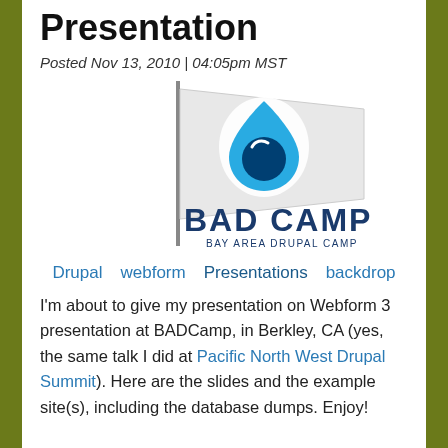Presentation
Posted Nov 13, 2010 | 04:05pm MST
[Figure (logo): BADCamp - Bay Area Drupal Camp logo with Drupal water drop icon on a flag]
Drupal   webform   Presentations   backdrop
I'm about to give my presentation on Webform 3 presentation at BADCamp, in Berkley, CA (yes, the same talk I did at Pacific North West Drupal Summit). Here are the slides and the example site(s), including the database dumps. Enjoy!